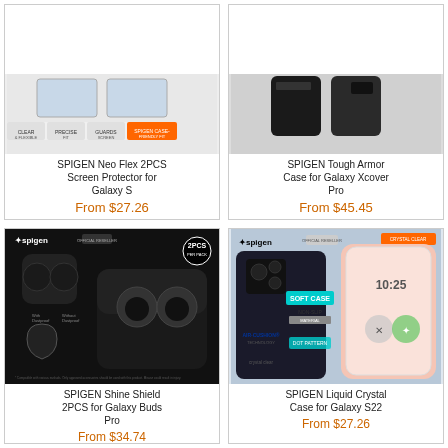[Figure (photo): SPIGEN Neo Flex 2PCS Screen Protector for Galaxy S product image, partially cropped at top]
SPIGEN Neo Flex 2PCS Screen Protector for Galaxy S
From $27.26
[Figure (photo): SPIGEN Tough Armor Case for Galaxy Xcover Pro product image, partially cropped at top]
SPIGEN Tough Armor Case for Galaxy Xcover Pro
From $45.45
[Figure (photo): SPIGEN Shine Shield 2PCS for Galaxy Buds Pro product image showing earbuds case and accessories]
SPIGEN Shine Shield 2PCS for Galaxy Buds Pro
From $34.74
[Figure (photo): SPIGEN Liquid Crystal Case for Galaxy S22 product image showing clear case features]
SPIGEN Liquid Crystal Case for Galaxy S22
From $27.26